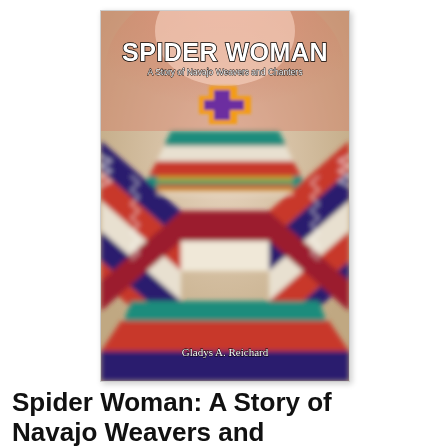[Figure (illustration): Book cover of 'Spider Woman: A Story of Navajo Weavers and Chanters' by Gladys A. Reichard. The cover shows a blurred, colorful Navajo textile pattern with X-shaped geometric design in red, teal, purple, orange, and white. A yellow and purple cross symbol appears at the top center. The title 'SPIDER WOMAN' is in large bold white text at the top, with subtitle 'A Story of Navajo Weavers and Chanters' below it. The author name 'Gladys A. Reichard' appears at the bottom.]
Spider Woman: A Story of Navajo Weavers and